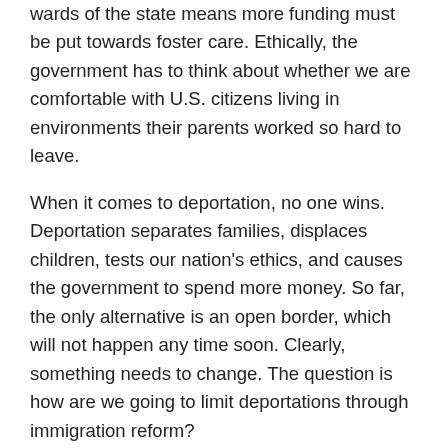wards of the state means more funding must be put towards foster care. Ethically, the government has to think about whether we are comfortable with U.S. citizens living in environments their parents worked so hard to leave.
When it comes to deportation, no one wins. Deportation separates families, displaces children, tests our nation's ethics, and causes the government to spend more money. So far, the only alternative is an open border, which will not happen any time soon. Clearly, something needs to change. The question is how are we going to limit deportations through immigration reform?
Share this:
Twitter  Reddit  Facebook  Tumblr  Email  Print  LinkedIn  Pinterest